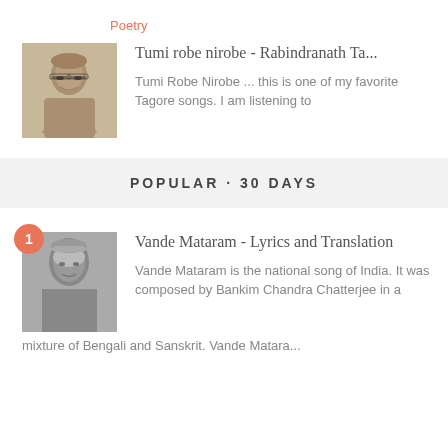Poetry
[Figure (photo): Black and white portrait photo of a man with glasses]
Tumi robe nirobe - Rabindranath Ta...
Tumi Robe Nirobe ... this is one of my favorite Tagore songs. I am listening to
POPULAR · 30 DAYS
[Figure (photo): Black and white photo of a woman singing]
Vande Mataram - Lyrics and Translation
Vande Mataram is the national song of India. It was composed by Bankim Chandra Chatterjee in a mixture of Bengali and Sanskrit. Vande Matara...